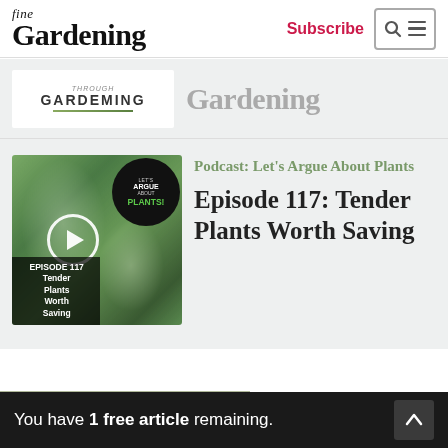fine Gardening — Subscribe [search/menu icons]
Gardening
[Figure (screenshot): Podcast thumbnail showing plant leaves with play button overlay and 'Let's Argue About Plants' badge, Episode 117: Tender Plants Worth Saving]
Podcast: Let's Argue About Plants
Episode 117: Tender Plants Worth Saving
SHOP THE STORE
View All
You have 1 free article remaining.